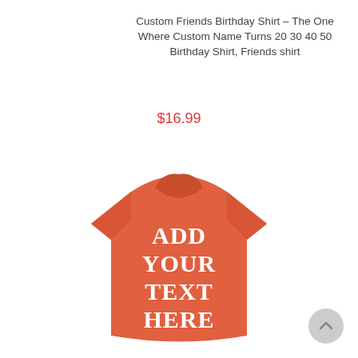Custom Friends Birthday Shirt - The One Where Custom Name Turns 20 30 40 50 Birthday Shirt, Friends shirt
$16.99
[Figure (photo): Orange/coral custom t-shirt with white bold text reading 'ADD YOUR TEXT HERE' on the front, displayed on a white background.]